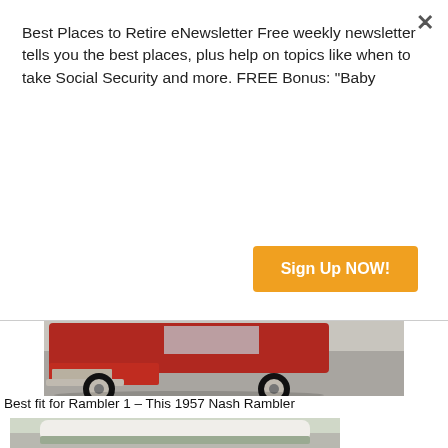Best Places to Retire eNewsletter Free weekly newsletter tells you the best places, plus help on topics like when to take Social Security and more. FREE Bonus: "Baby
Sign Up NOW!
Earl
[Figure (photo): Front view of a red vintage car (1950s era) parked on pavement, showing chrome bumper and whitewall tires]
Best fit for Rambler 1 – This 1957 Nash Rambler
[Figure (photo): A cream/white 1957 Nash Rambler station wagon parked in a residential driveway, front three-quarter view showing chrome grille]